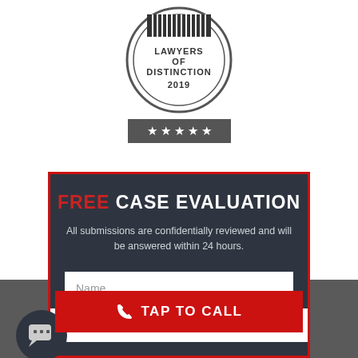[Figure (logo): Lawyers of Distinction 2019 badge/seal with vertical lines at top and circular border]
[Figure (other): Dark grey bar with five white stars rating]
FREE CASE EVALUATION
All submissions are confidentially reviewed and will be answered within 24 hours.
Name (form input field)
TAP TO CALL
Last (form input field, partially visible)